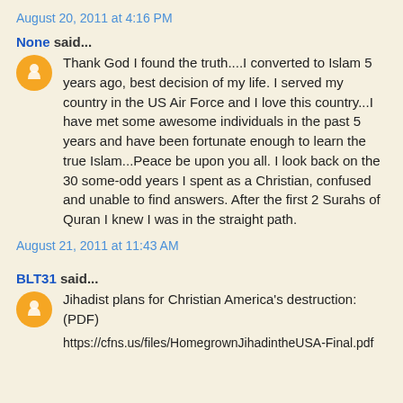August 20, 2011 at 4:16 PM
None said...
Thank God I found the truth....I converted to Islam 5 years ago, best decision of my life. I served my country in the US Air Force and I love this country...I have met some awesome individuals in the past 5 years and have been fortunate enough to learn the true Islam...Peace be upon you all. I look back on the 30 some-odd years I spent as a Christian, confused and unable to find answers. After the first 2 Surahs of Quran I knew I was in the straight path.
August 21, 2011 at 11:43 AM
BLT31 said...
Jihadist plans for Christian America's destruction: (PDF)
https://cfns.us/files/HomegrownJihadintheUSA-Final.pdf